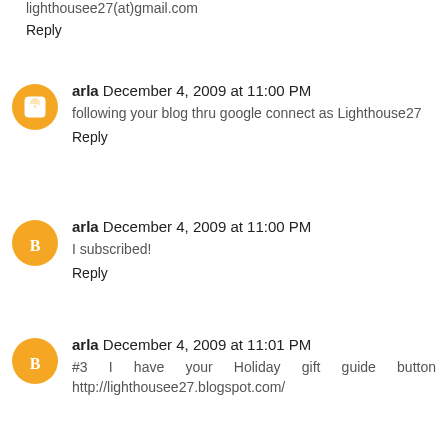lighthousee27(at)gmail.com
Reply
arla December 4, 2009 at 11:00 PM
following your blog thru google connect as Lighthouse27
Reply
arla December 4, 2009 at 11:00 PM
I subscribed!
Reply
arla December 4, 2009 at 11:01 PM
#3 I have your Holiday gift guide button http://lighthousee27.blogspot.com/